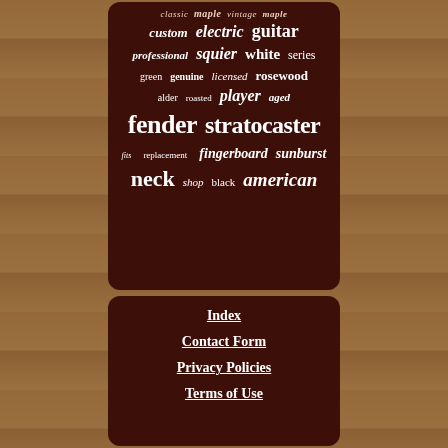[Figure (infographic): Word cloud on dark brown rounded rectangle panel over wood background. Words include: classic, maple, vintage, custom, electric, guitar, professional, squier, white, series, green, genuine, licensed, rosewood, alder, roasted, player, aged, fender, stratocaster, fingerboard, sunburst, fits, replacement, neck, shop, black, american]
Index
Contact Form
Privacy Policies
Terms of Use